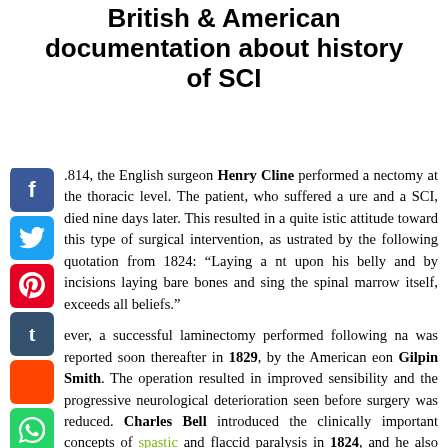British & American documentation about history of SCI
In 1814, the English surgeon Henry Cline performed a laminectomy at the thoracic level. The patient, who suffered a fracture and a SCI, died nine days later. This resulted in a quite pessimistic attitude toward this type of surgical intervention, as illustrated by the following quotation from 1824: "Laying a patient upon his belly and by incisions laying bare bones and exposing the spinal marrow itself, exceeds all beliefs."
However, a successful laminectomy performed following trauma was reported soon thereafter in 1829, by the American surgeon Gilpin Smith. The operation resulted in improved sensibility and the progressive neurological deterioration seen before surgery was reduced. Charles Bell introduced the clinically important concepts of spastic and flaccid paralysis in 1824, and he also described the concept of spinal shock.